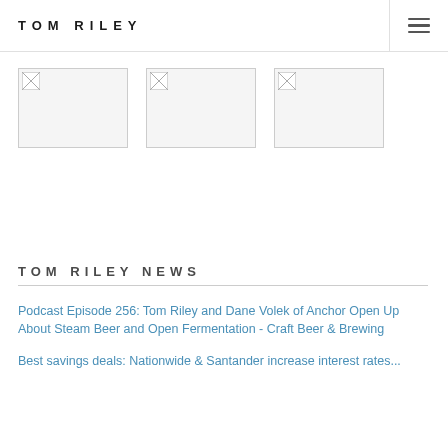TOM RILEY
[Figure (other): Broken/missing image placeholder 1]
[Figure (other): Broken/missing image placeholder 2]
[Figure (other): Broken/missing image placeholder 3]
TOM RILEY NEWS
Podcast Episode 256: Tom Riley and Dane Volek of Anchor Open Up About Steam Beer and Open Fermentation - Craft Beer & Brewing
Best savings deals: Nationwide & Santander increase interest rates...